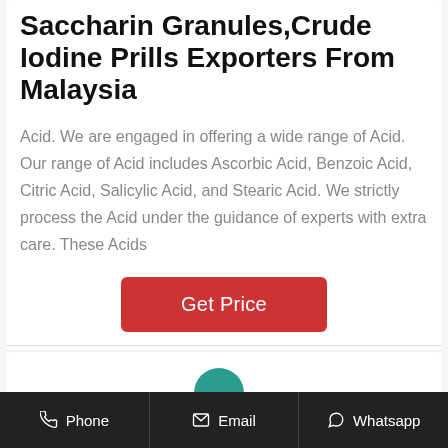Saccharin Granules, Crude Iodine Prills Exporters From Malaysia
Acid. We are engaged in offering a wide range of Acid. Our range of Acid includes Ascorbic Acid, Benzoic Acid, Citric Acid, Salicylic Acid, and Stearic Acid. We strictly process the Acid under the guidance of experts with extra care. These Acids
Get Price
Phone  Email  Whatsapp